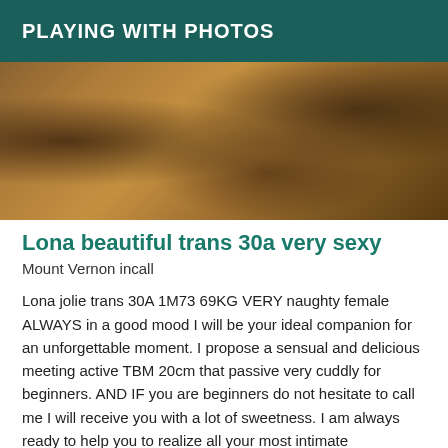PLAYING WITH PHOTOS
[Figure (photo): Close-up photo with dark brown and golden/amber tones, showing textured fabric or skin details with dark curled elements in corners]
Lona beautiful trans 30a very sexy
Mount Vernon incall
Lona jolie trans 30A 1M73 69KG VERY naughty female ALWAYS in a good mood I will be your ideal companion for an unforgettable moment. I propose a sensual and delicious meeting active TBM 20cm that passive very cuddly for beginners. AND IF you are beginners do not hesitate to call me I will receive you with a lot of sweetness. I am always ready to help you to realize all your most intimate FANTASMS by taking all my time and